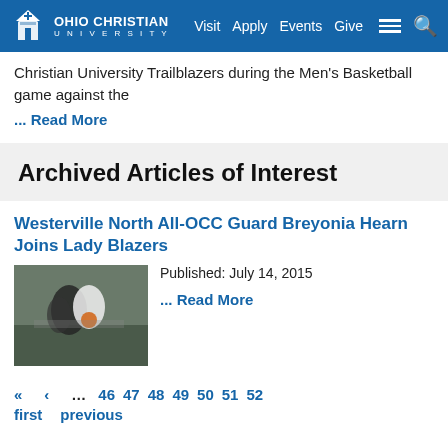Ohio Christian University — Visit Apply Events Give
Christian University Trailblazers during the Men's Basketball game against the
... Read More
Archived Articles of Interest
Westerville North All-OCC Guard Breyonia Hearn Joins Lady Blazers
Published: July 14, 2015
... Read More
« ‹ … 46 47 48 49 50 51 52
first previous